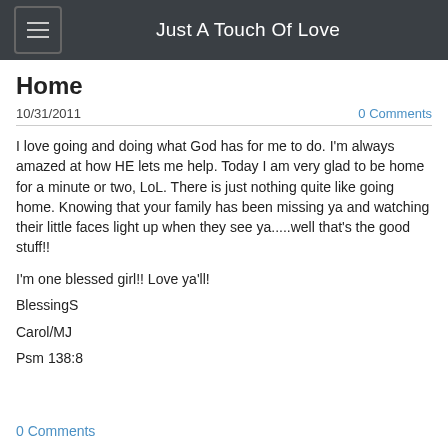Just A Touch Of Love
Home
10/31/2011
0 Comments
I love going and doing what God has for me to do. I'm always amazed at how HE lets me help. Today I am very glad to be home for a minute or two, LoL. There is just nothing quite like going home. Knowing that your family has been missing ya and watching their little faces light up when they see ya.....well that's the good stuff!!
I'm one blessed girl!! Love ya'll!
BlessingS
Carol/MJ
Psm 138:8
0 Comments